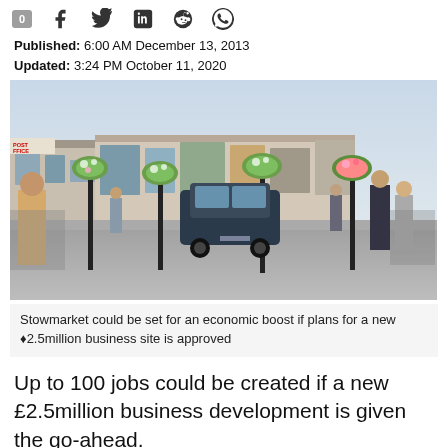0 [social icons: facebook, twitter, linkedin, reddit, whatsapp]
Published: 6:00 AM December 13, 2013
Updated: 3:24 PM October 11, 2020
[Figure (photo): Street scene of Stowmarket town centre with pedestrians, hanging flower baskets on lamp posts, and a dark SUV driving down the high street]
Stowmarket could be set for an economic boost if plans for a new £2.5million business site is approved
Up to 100 jobs could be created if a new £2.5million business development is given the go-ahead.